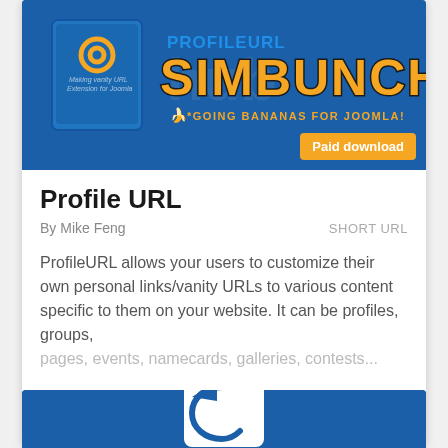[Figure (screenshot): ProfileURL SimBunch product banner image with blue box product mockup and banner text logo]
Profile URL
By Mike Feng
SHORT URL
ProfileURL allows your users to customize their own personal links/vanity URLs to various content specific to them on your website. It can be profiles, groups, pages, events, namecards, galleries, contests...
★ 4   6 reviews   J3   J4
[Figure (screenshot): Blue card section with white rounded-square undo/back arrow icon]